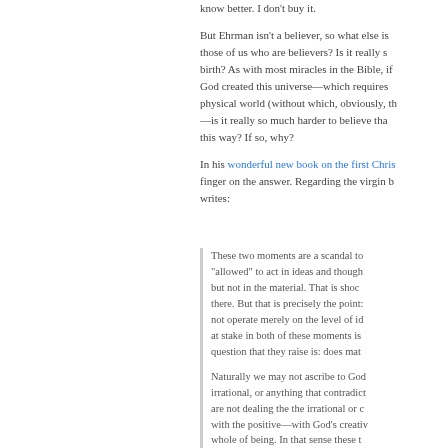know better. I don't buy it.
But Ehrman isn't a believer, so what else is new? What about those of us who are believers? Is it really so hard to believe in a virgin birth? As with most miracles in the Bible, if one believes that God created this universe—which requires creating the laws of the physical world (without which, obviously, the universe couldn't exist) —is it really so much harder to believe that he could act outside this way? If so, why?
In his wonderful new book on the first Christians, he puts his finger on the answer. Regarding the virgin birth and resurrection, he writes:
These two moments are a scandal to us because God is "allowed" to act in ideas and thoughts and spiritual things, but not in the material. That is shocking, and it should be there. But that is precisely the point: the Christian God does not operate merely on the level of ideas. The question at stake in both of these moments is material: the question that they raise is: does matter matter?
Naturally we may not ascribe to God anything evil, irrational, or anything that contradicts his nature. But we are not dealing the the irrational or contradictory here, but with the positive—with God's creative intervention in the whole of being. In that sense these two moments—the birth and the real resurrection from t